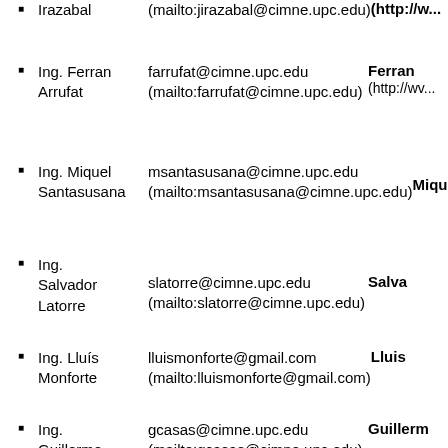Irazabal   (mailto:jirazabal@cimne.upc.edu)   (http://w...
Ing. Ferran Arrufat   farrufat@cimne.upc.edu (mailto:farrufat@cimne.upc.edu)   Ferran (http://wv...
Ing. Miquel Santasusana   msantasusana@cimne.upc.edu (mailto:msantasusana@cimne.upc.edu)   Miquel
Ing. Salvador Latorre   slatorre@cimne.upc.edu (mailto:slatorre@cimne.upc.edu)   Salva
Ing. Lluís Monforte   lluismonforte@gmail.com (mailto:lluismonforte@gmail.com)   Lluis
Ing. Guillermo Casas   gcasas@cimne.upc.edu (mailto:gcasas@cimne.upc.edu)   Guillerm...